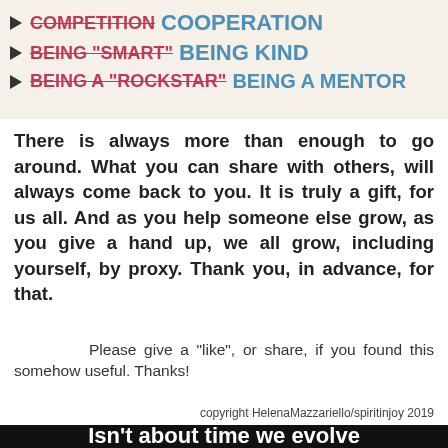[Figure (illustration): Infographic showing crossed-out old concepts replaced by new ones: COMPETITION crossed out replaced by COOPERATION, BEING SMART crossed out replaced by BEING KIND, BEING A ROCKSTAR crossed out replaced by BEING A MENTOR]
There is always more than enough to go around. What you can share with others, will always come back to you. It is truly a gift, for us all. And as you help someone else grow, as you give a hand up, we all grow, including yourself, by proxy. Thank you, in advance, for that.
Please give a "like", or share, if you found this somehow useful. Thanks!
copyright HelenaMazzariello/spiritinjoy 2019
[Figure (photo): Dark starry night sky background with white bold text reading: Isn't about time we evolve from a world]